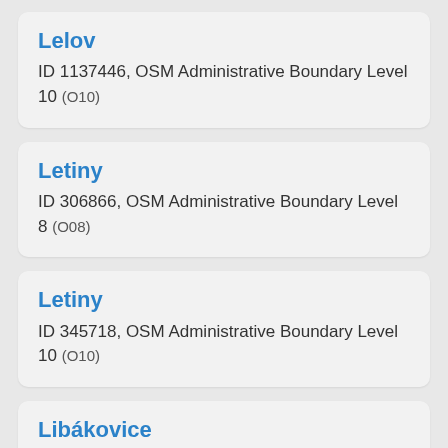Lelov
ID 1137446, OSM Administrative Boundary Level 10 (O10)
Letiny
ID 306866, OSM Administrative Boundary Level 8 (O08)
Letiny
ID 345718, OSM Administrative Boundary Level 10 (O10)
Libákovice